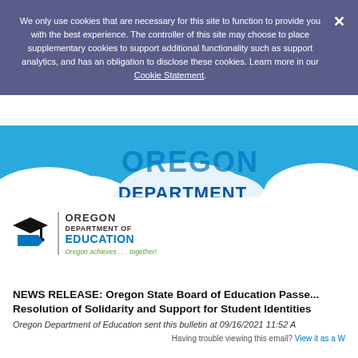We only use cookies that are necessary for this site to function to provide you with the best experience. The controller of this site may choose to place supplementary cookies to support additional functionality such as support analytics, and has an obligation to disclose these cookies. Learn more in our Cookie Statement.
[Figure (logo): Oregon Department of Education banner with logo, clouds, and large text reading OREGON DEPARTMENT OF EDUCATION]
NEWS RELEASE: Oregon State Board of Education Passes Resolution of Solidarity and Support for Student Identities
Oregon Department of Education sent this bulletin at 09/16/2021 11:52 A
Having trouble viewing this email? View it as a W